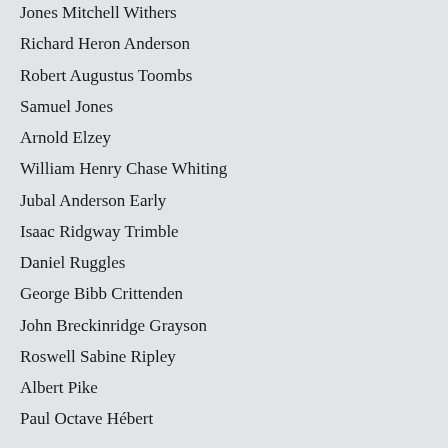Jones Mitchell Withers
Richard Heron Anderson
Robert Augustus Toombs
Samuel Jones
Arnold Elzey
William Henry Chase Whiting
Jubal Anderson Early
Isaac Ridgway Trimble
Daniel Ruggles
George Bibb Crittenden
John Breckinridge Grayson
Roswell Sabine Ripley
Albert Pike
Paul Octave Hébert